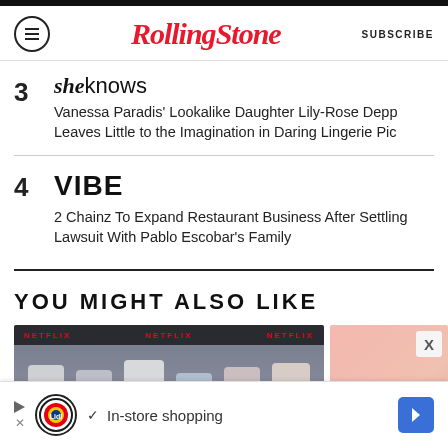RollingStone | SUBSCRIBE
3 sheknows — Vanessa Paradis' Lookalike Daughter Lily-Rose Depp Leaves Little to the Imagination in Daring Lingerie Pic
4 VIBE — 2 Chainz To Expand Restaurant Business After Settling Lawsuit With Pablo Escobar's Family
YOU MIGHT ALSO LIKE
[Figure (photo): Group photo of women at a Netflix event]
[Figure (photo): Pinkish/salmon colored image (partial)]
[Figure (infographic): Lidl advertisement banner: In-store shopping]